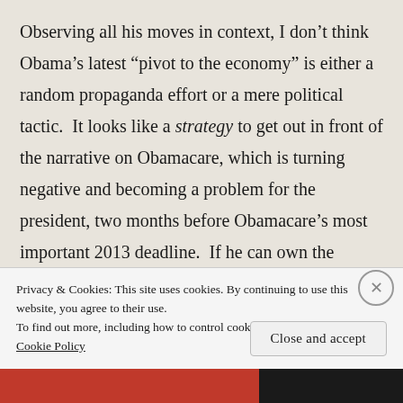Observing all his moves in context, I don't think Obama's latest “pivot to the economy” is either a random propaganda effort or a mere political tactic.  It looks like a strategy to get out in front of the narrative on Obamacare, which is turning negative and becoming a problem for the president, two months before Obamacare’s most important 2013 deadline.  If he can own the popular narrative about the economy, Obama will improve his position vis-à-vis
Privacy & Cookies: This site uses cookies. By continuing to use this website, you agree to their use.
To find out more, including how to control cookies, see here: Cookie Policy